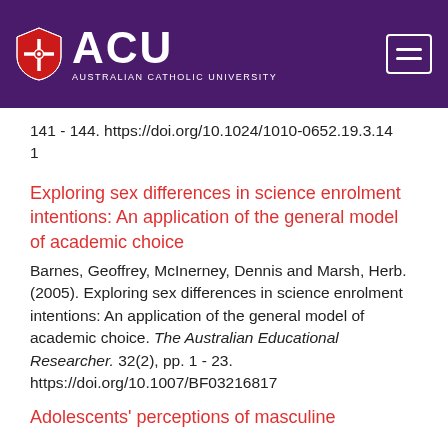ACU - Australian Catholic University
141 - 144. https://doi.org/10.1024/1010-0652.19.3.141
Exploring sex differences in science enrolment intentions: An application of the general model of academic choice
Barnes, Geoffrey, McInerney, Dennis and Marsh, Herb. (2005). Exploring sex differences in science enrolment intentions: An application of the general model of academic choice. The Australian Educational Researcher. 32(2), pp. 1 - 23. https://doi.org/10.1007/BF03216817
Adolescents' perceptions of masculine and feminine